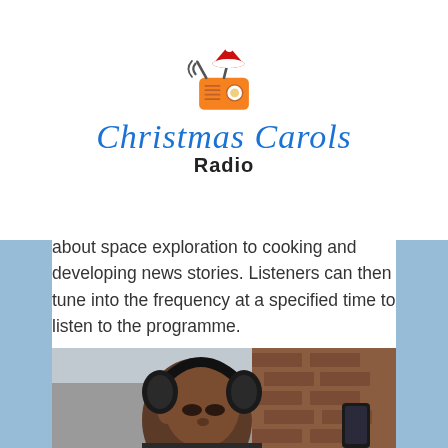[Figure (logo): Christmas Carols Radio logo with radio icon wearing a Santa hat, with script text 'Christmas Carols' in blue and bold 'Radio' below]
about space exploration to cooking and developing news stories. Listeners can then tune into the frequency at a specified time to listen to the programme.
Providing Listeners with Factual Information
[Figure (photo): Young man wearing large black over-ear headphones, looking down, with a brick wall in the background]